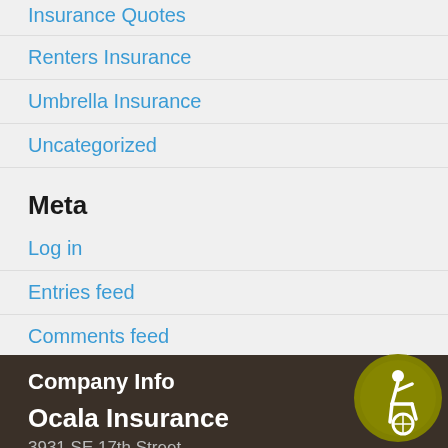Insurance Quotes
Renters Insurance
Umbrella Insurance
Uncategorized
Meta
Log in
Entries feed
Comments feed
WordPress.org
Company Info
Ocala Insurance
3931 SE 17th Street